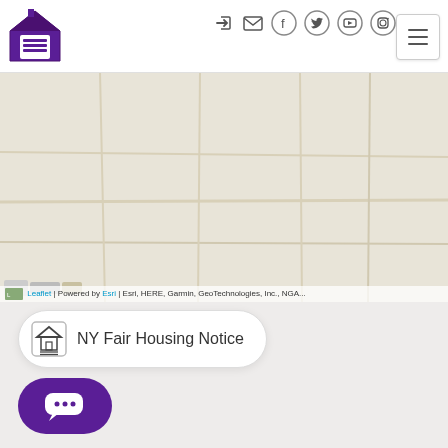[Figure (logo): Realty Team purple house logo in top left corner]
Navigation icons: login, email, Facebook, Twitter, YouTube, Instagram | Hamburger menu button
[Figure (map): Map area with light tan background, Leaflet map attribution bar at bottom showing: Leaflet | Powered by Esri | Esri, HERE, Garmin, GeoTechnologies, Inc., NGA...]
NY Fair Housing Notice
[Figure (other): Purple chat bubble button with three dots indicating chat/messaging]